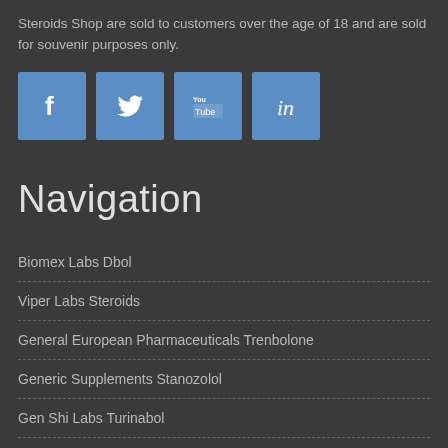Steroids Shop are sold to customers over the age of 18 and are sold for souvenir purposes only.
[Figure (infographic): Four social media icon buttons: Facebook, Twitter, YouTube, LinkedIn — blue square icons with white symbols]
Navigation
Biomex Labs Dbol
Viper Labs Steroids
General European Pharmaceuticals Trenbolone
Generic Supplements Stanozolol
Gen Shi Labs Turinabol
La Pharma Anabol Hexagon